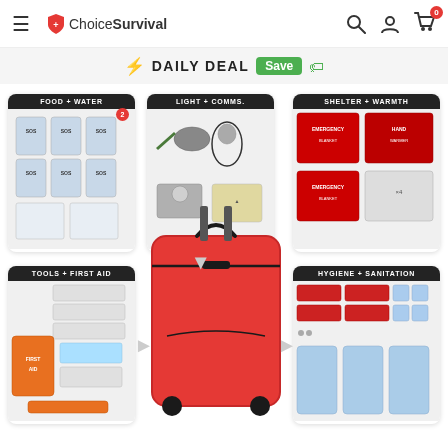ChoiceSurvival — hamburger menu, logo, search, account, cart (0)
⚡ DAILY DEAL Save 🏷
[Figure (screenshot): Six product category panels arranged around a central red rolling backpack. Panels: FOOD + WATER (SOS ration packets, documents), LIGHT + COMMS (flashlight, radio, compass), SHELTER + WARMTH (emergency blankets, hand warmers), TOOLS + FIRST AID (first aid kit, supplies), HYGIENE + SANITATION (hygiene packets, face masks). Red badge with number 2 on FOOD + WATER panel. Directional arrows between panels and center bag.]